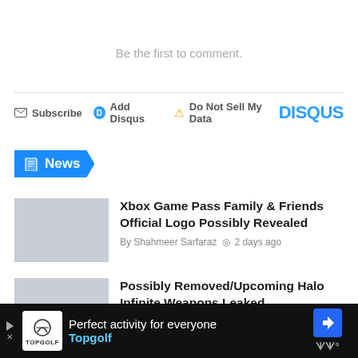Be the first to comment.
Subscribe  Add Disqus  Do Not Sell My Data    DISQUS
News
Xbox Game Pass Family & Friends Official Logo Possibly Revealed
By Shahmeer Sarfaraz  2 days ago
Possibly Removed/Upcoming Halo Infinite Weapons Leaked
[Figure (screenshot): Advertisement banner for Topgolf: Perfect activity for everyone]
Perfect activity for everyone  Topgolf